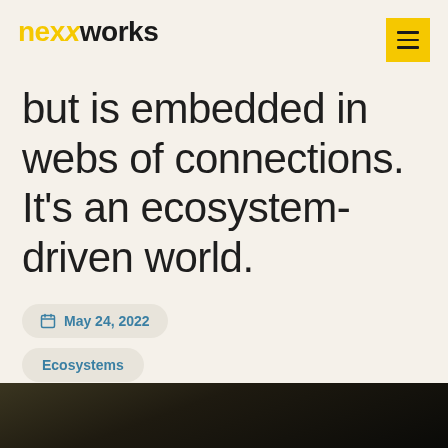nexxworks
but is embedded in webs of connections. It’s an ecosystem-driven world.
May 24, 2022
Ecosystems
Guest contributor Greg Satell
[Figure (photo): Dark landscape photo at the bottom of the page]